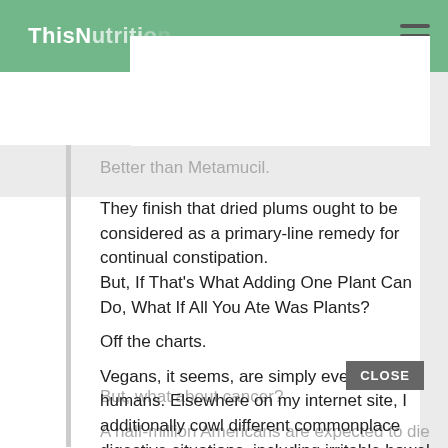ThisNutriti...
Better than Metamucil.
They finish that dried plums ought to be considered as a primary-line remedy for continual constipation.
But, If That's What Adding One Plant Can Do, What If All You Ate Was Plants?

Off the charts.

Vegans, it seems, are simply everyday humans. Elsewhere on my internet site, I additionally cowl different commonplace digestive situations, including irritable bowel and chronic indigestion.
But, what about cancer?
A half-million Americans are expected to die this